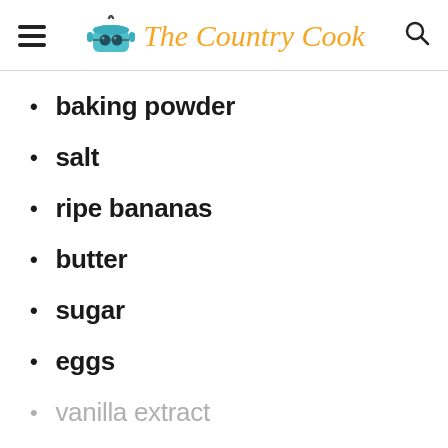The Country Cook
baking powder
salt
ripe bananas
butter
sugar
eggs
vanilla extract
milk